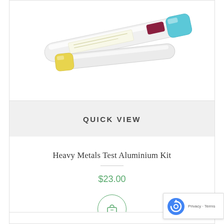[Figure (photo): Product photo of Heavy Metals Test Aluminium Kit — two medical/scientific tube-like items with yellow and blue/teal caps on a white background]
QUICK VIEW
Heavy Metals Test Aluminium Kit
$23.00
[Figure (illustration): Circle shopping cart button icon with green border]
[Figure (illustration): Google reCAPTCHA badge with logo and Privacy/Terms text]